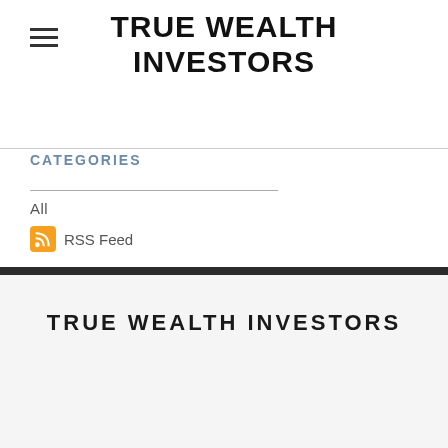TRUE WEALTH INVESTORS
CATEGORIES
All
RSS Feed
TRUE WEALTH INVESTORS